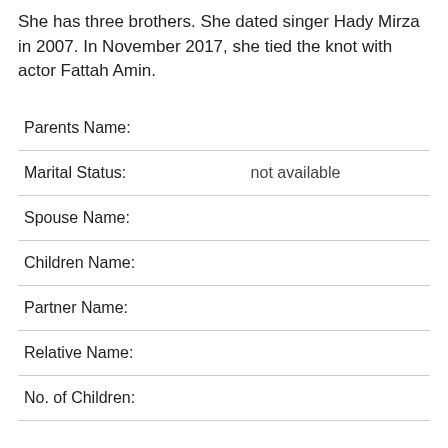She has three brothers. She dated singer Hady Mirza in 2007. In November 2017, she tied the knot with actor Fattah Amin.
| Field | Value |
| --- | --- |
| Parents Name: |  |
| Marital Status: | not available |
| Spouse Name: |  |
| Children Name: |  |
| Partner Name: |  |
| Relative Name: |  |
| No. of Children: |  |